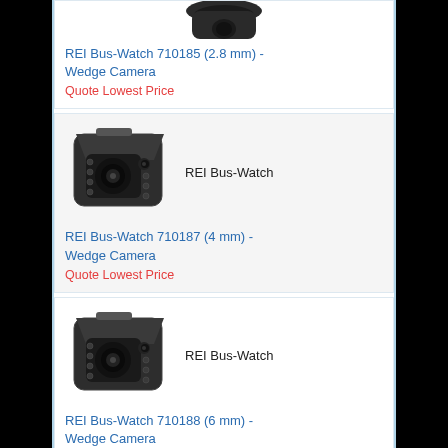[Figure (photo): Partial view of a black wedge security camera at the top of the page]
REI Bus-Watch 710185 (2.8 mm) - Wedge Camera
Quote Lowest Price
[Figure (photo): Black wedge security camera with IR LEDs - REI Bus-Watch]
REI Bus-Watch
REI Bus-Watch 710187 (4 mm) - Wedge Camera
Quote Lowest Price
[Figure (photo): Black wedge security camera with IR LEDs - REI Bus-Watch]
REI Bus-Watch
REI Bus-Watch 710188 (6 mm) - Wedge Camera
Quote Lowest Price
[Figure (photo): Partial view of a black wedge security camera at the bottom of the page]